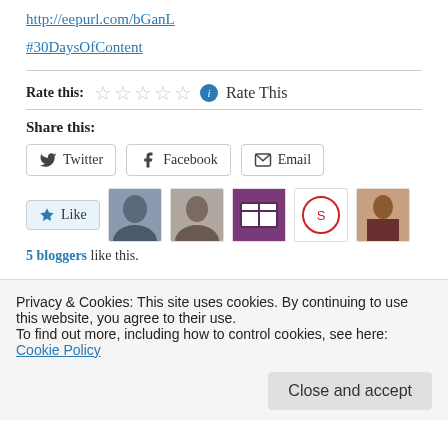http://eepurl.com/bGanL
#30DaysOfContent
Rate this: ☆☆☆☆☆ ℹ Rate This
Share this:
Twitter  Facebook  Email
Like  5 bloggers like this.
This post was created in discipline below with disease and best...
Privacy & Cookies: This site uses cookies. By continuing to use this website, you agree to their use.
To find out more, including how to control cookies, see here: Cookie Policy
Close and accept